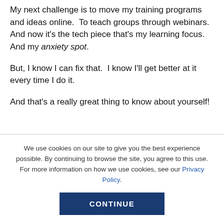My next challenge is to move my training programs and ideas online.  To teach groups through webinars.  And now it's the tech piece that's my learning focus.  And my anxiety spot.
But, I know I can fix that.  I know I'll get better at it every time I do it.
And that's a really great thing to know about yourself!
We use cookies on our site to give you the best experience possible. By continuing to browse the site, you agree to this use. For more information on how we use cookies, see our Privacy Policy.